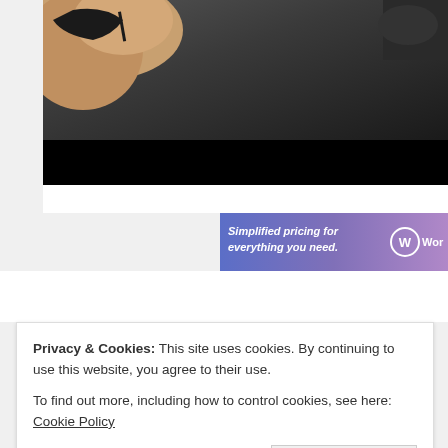[Figure (photo): A hand holding something dark (likely glasses or an object) against a dark asphalt/ground background, with a black bar at the bottom of the image area. The image is cropped showing upper portion.]
[Figure (screenshot): WordPress advertisement banner with text 'Simplified pricing for everything you need.' and WordPress logo/wordmark on blue-purple gradient background.]
Privacy & Cookies: This site uses cookies. By continuing to use this website, you agree to their use.
To find out more, including how to control cookies, see here: Cookie Policy
Close and accept